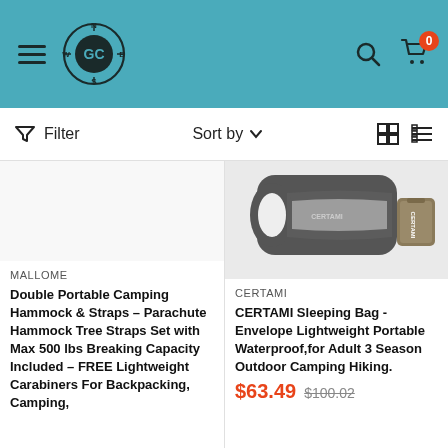[Figure (logo): GC brand logo with compass design on teal header bar with hamburger menu, search icon, and cart icon showing 0 items]
Filter   Sort by   grid/list view icons
MALLOME
Double Portable Camping Hammock & Straps – Parachute Hammock Tree Straps Set with Max 500 lbs Breaking Capacity Included – FREE Lightweight Carabiners For Backpacking, Camping,
[Figure (photo): Photo of a dark gray sleeping bag unrolled showing white interior, with a matching carrying case beside it, brand CERTAMI]
CERTAMI
CERTAMI Sleeping Bag - Envelope Lightweight Portable Waterproof,for Adult 3 Season Outdoor Camping Hiking.
$63.49  $100.02